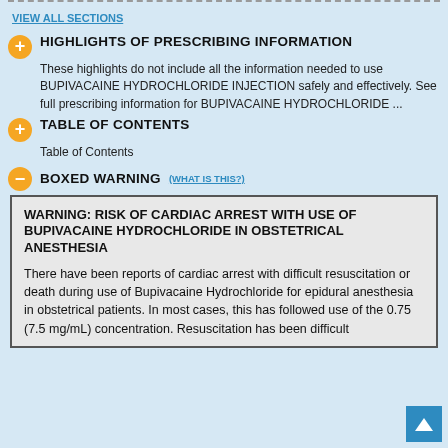VIEW ALL SECTIONS
HIGHLIGHTS OF PRESCRIBING INFORMATION
These highlights do not include all the information needed to use BUPIVACAINE HYDROCHLORIDE INJECTION safely and effectively. See full prescribing information for BUPIVACAINE HYDROCHLORIDE ...
TABLE OF CONTENTS
Table of Contents
BOXED WARNING (WHAT IS THIS?)
WARNING: RISK OF CARDIAC ARREST WITH USE OF BUPIVACAINE HYDROCHLORIDE IN OBSTETRICAL ANESTHESIA

There have been reports of cardiac arrest with difficult resuscitation or death during use of Bupivacaine Hydrochloride for epidural anesthesia in obstetrical patients. In most cases, this has followed use of the 0.75 (7.5 mg/mL) concentration. Resuscitation has been difficult